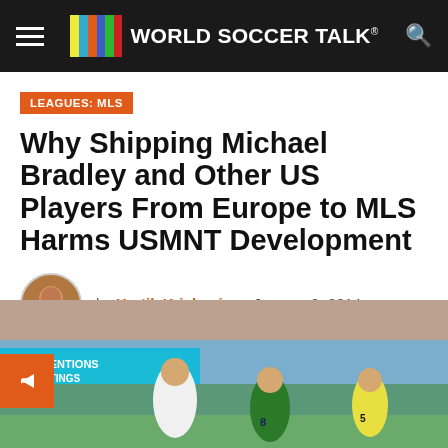WORLD SOCCER TALK
LEAGUES: MLS
Why Shipping Michael Bradley and Other US Players From Europe to MLS Harms USMNT Development
by Kartik Krishnaiyer  January 9, 2014
[Figure (photo): Soccer players on a field; US player in white jersey, German player in green jersey, and a referee in yellow jacket. Billboard in background reads CONVENTIONS & MEETINGS and POWERFU[L].]